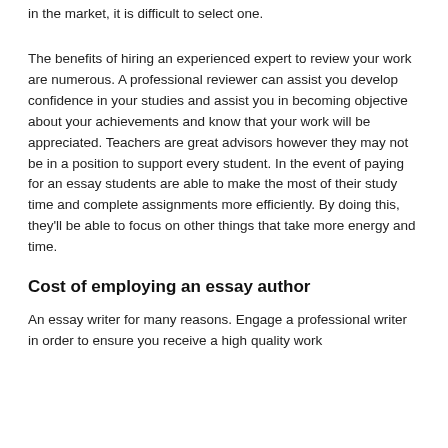in the market, it is difficult to select one.
The benefits of hiring an experienced expert to review your work are numerous. A professional reviewer can assist you develop confidence in your studies and assist you in becoming objective about your achievements and know that your work will be appreciated. Teachers are great advisors however they may not be in a position to support every student. In the event of paying for an essay students are able to make the most of their study time and complete assignments more efficiently. By doing this, they'll be able to focus on other things that take more energy and time.
Cost of employing an essay author
An essay writer for many reasons. Engage a professional writer in order to ensure you receive a high quality work